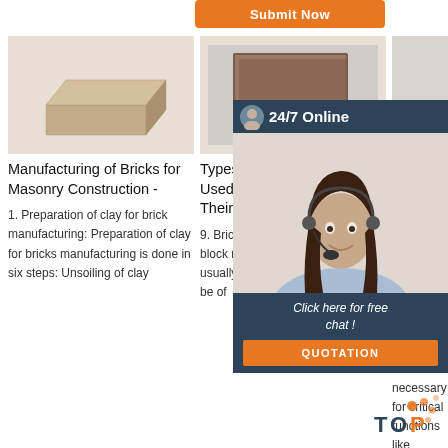[Figure (other): Orange 'Submit Now' button at top of page]
[Figure (photo): Photo of a tan/beige clay brick for masonry]
Manufacturing of Bricks for Masonry Construction -
1. Preparation of clay for brick manufacturing: Preparation of clay for bricks manufacturing is done in six steps: Unsoiling of clay
[Figure (photo): Photo of a square brown kiln-fired brick block]
Types of Building Materials Used in Construction and Their ...
9. Brick and Block A brick is a block made of kiln-fired material, usually clay or shale, but also may be of
[Figure (photo): Partial photo column: Antiq Pave article image (cut off on right)]
Antiq Pave
2021-1 17u20 Cookie Techno Some of the technologies we use are necessary for critical functions like security and site
[Figure (illustration): 24/7 Online customer support widget with photo of woman with headset and 'Click here for free chat!' text and QUOTATION button]
[Figure (logo): TOP logo with orange dot pattern at bottom right]